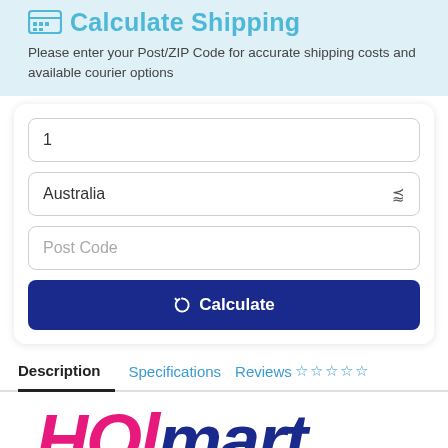Calculate Shipping
Please enter your Post/ZIP Code for accurate shipping costs and available courier options
[Figure (screenshot): Form with quantity field showing '1', country dropdown showing 'Australia', Post Code placeholder text input, and a dark blue Calculate button with refresh icon]
Description    Specifications    Reviews ☆☆☆☆☆
[Figure (logo): HOlmart logo with HOl in pink/magenta italic bold and mart in dark blue italic bold]